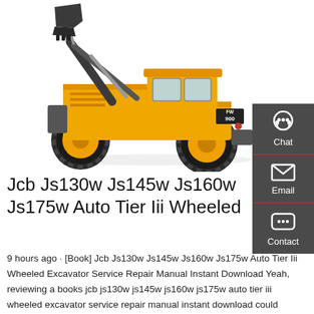[Figure (photo): Yellow JCB wheeled excavator/loader (model FW 900) with bucket raised, on white background]
[Figure (infographic): Dark grey sidebar with Chat, Email, and Contact icons and labels]
Jcb Js130w Js145w Js160w Js175w Auto Tier Iii Wheeled
9 hours ago · [Book] Jcb Js130w Js145w Js160w Js175w Auto Tier Iii Wheeled Excavator Service Repair Manual Instant Download Yeah, reviewing a books jcb js130w js145w js160w js175w auto tier iii wheeled excavator service repair manual instant download could amass your close associates listings.